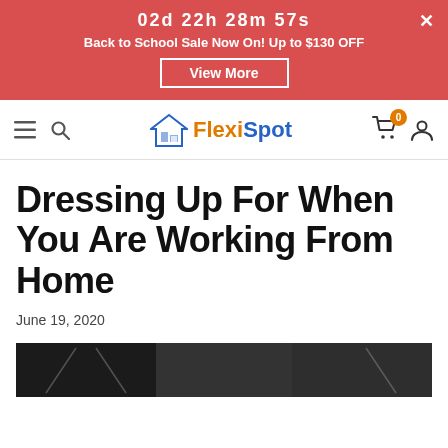02d  22h  28m  57s
Back to School Sale Now On! Up to $130 OFF
View More
FlexiSpot navigation bar with hamburger menu, search, logo, cart (0), and user icon
Dressing Up For When You Are Working From Home
June 19, 2020
[Figure (photo): Dark/black and white photo at the bottom of the page, partially visible]